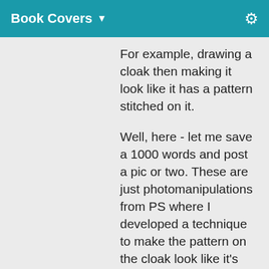Book Covers ▼
For example, drawing a cloak then making it look like it has a pattern stitched on it.
Well, here - let me save a 1000 words and post a pic or two. These are just photomanipulations from PS where I developed a technique to make the pattern on the cloak look like it's been stitched.
With all of these I hand drew the cloak using custom brushes. Then I took an alpha of the decorative pattern as it's own layer and used layer blending modes to get it to